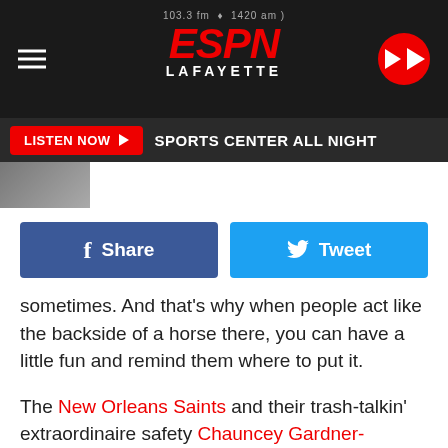ESPN Lafayette 103.3 FM & 1420 AM — LISTEN NOW — SPORTS CENTER ALL NIGHT
[Figure (logo): ESPN Lafayette radio station logo with hamburger menu and play button]
[Figure (photo): Partial photo of a person]
f Share
Tweet
sometimes. And that's why when people act like the backside of a horse there, you can have a little fun and remind them where to put it.
The New Orleans Saints and their trash-talkin' extraordinaire safety Chauncey Gardner-Johnson did just that yesterday towards ESPN's Skip Bayless.
The ESPN talking head who is known for his outlandish and sometimes moronic hot takes was obviously rooting for the